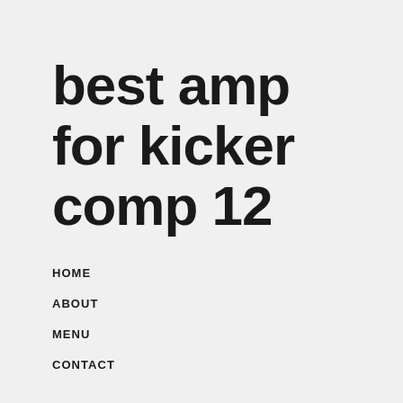best amp for kicker comp 12
HOME
ABOUT
MENU
CONTACT